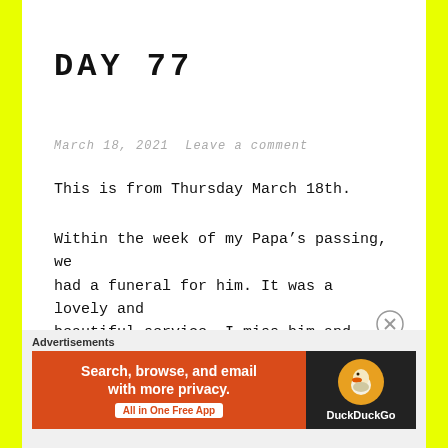DAY 77
March 18, 2021  Leave a comment
This is from Thursday March 18th.
Within the week of my Papa’s passing, we had a funeral for him. It was a lovely and beautiful service. I miss him and love him so much. I just wished we had more memories towards the end. Only because the final year of his life was spent in lockdown, so
[Figure (infographic): DuckDuckGo advertisement banner with orange background on left reading 'Search, browse, and email with more privacy. All in One Free App' and dark background on right with DuckDuckGo logo and duck icon.]